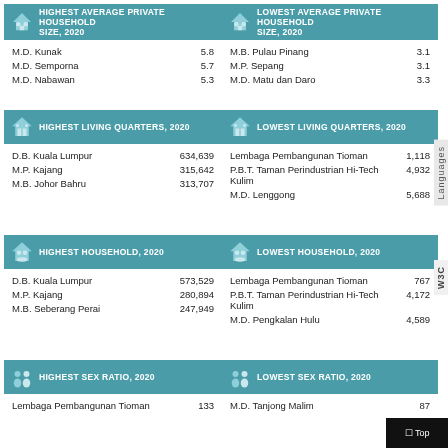HIGHEST AVERAGE PRIVATE HOUSEHOLD SIZE, 2020
LOWEST AVERAGE PRIVATE HOUSEHOLD SIZE, 2020
M.D. Kunak 5.8
M.D. Semporna 5.7
M.D. Nabawan 5.3
M.B. Pulau Pinang 3.1
M.P. Sepang 3.1
M.D. Matu dan Daro 3.3
HIGHEST LIVING QUARTERS, 2020
LOWEST LIVING QUARTERS, 2020
D.B. Kuala Lumpur 634,639
M.P. Kajang 315,642
M.B. Johor Bahru 313,707
Lembaga Pembangunan Tioman 1,118
P.B.T. Taman Perindustrian Hi-Tech Kulim 4,932
M.D. Lenggong 5,688
HIGHEST HOUSEHOLD, 2020
LOWEST HOUSEHOLD, 2020
D.B. Kuala Lumpur 573,529
M.P. Kajang 280,894
M.B. Seberang Perai 247,949
Lembaga Pembangunan Tioman 767
P.B.T. Taman Perindustrian Hi-Tech Kulim 4,172
M.D. Pengkalan Hulu 4,589
HIGHEST SEX RATIO, 2020
LOWEST SEX RATIO, 2020
Lembaga Pembangunan Tioman 133
M.D. Tanjong Malim 87